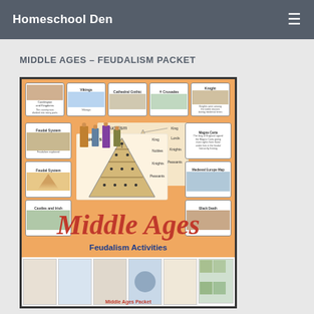Homeschool Den
MIDDLE AGES – FEUDALISM PACKET
[Figure (illustration): Book cover for Middle Ages Feudalism Packet by Homeschool Den. Orange background with grid of educational cards showing knights, castles, maps, and medieval topics. Center features feudalism pyramid diagrams. Large italic red title 'Middle Ages' with blue bold subtitles 'Feudalism Activities', 'Middle Ages Event Cards', 'Notebook Pages and more!' and '50+ pages' badge. Bottom strip shows sample notebook pages with 'Middle Ages Packet' label.]